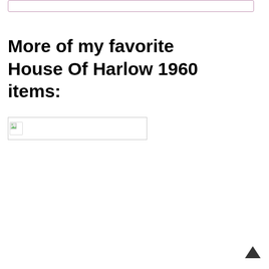[Figure (other): Top decorative bordered box element with pink/mauve border]
More of my favorite House Of Harlow 1960 items:
[Figure (photo): Broken/unloaded image placeholder for a House Of Harlow 1960 item]
[Figure (other): Back to top arrow button in bottom right corner]